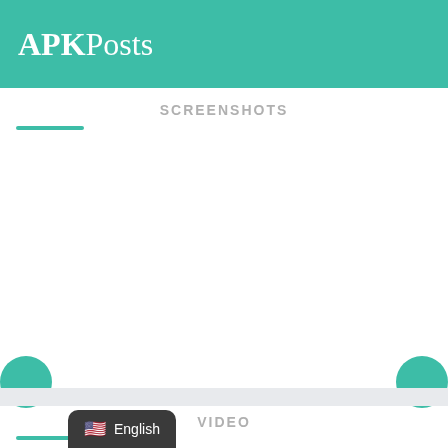APKPosts
SCREENSHOTS
[Figure (screenshot): Screenshots navigation area with teal left and right circular arrow buttons on white background]
VIDEO
English